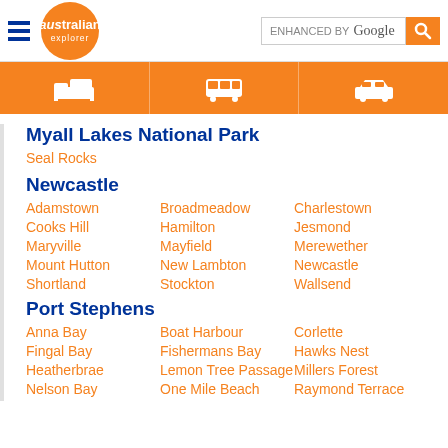australian explorer | ENHANCED BY Google
[Figure (infographic): Orange navigation bar with three icons: bed/accommodation, bus/transport, car/transport]
Myall Lakes National Park
Seal Rocks
Newcastle
Adamstown
Broadmeadow
Charlestown
Cooks Hill
Hamilton
Jesmond
Maryville
Mayfield
Merewether
Mount Hutton
New Lambton
Newcastle
Shortland
Stockton
Wallsend
Port Stephens
Anna Bay
Boat Harbour
Corlette
Fingal Bay
Fishermans Bay
Hawks Nest
Heatherbrae
Lemon Tree Passage
Millers Forest
Nelson Bay
One Mile Beach
Raymond Terrace